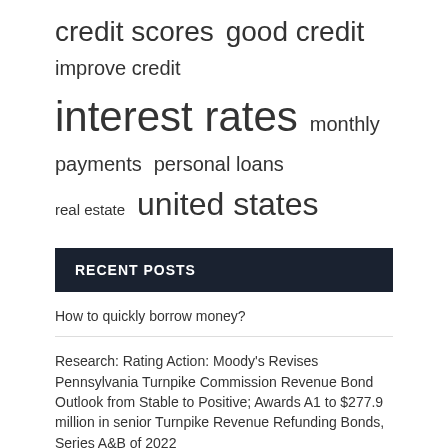credit scores  good credit  improve credit  interest rates  monthly payments  personal loans  real estate  united states
RECENT POSTS
How to quickly borrow money?
Research: Rating Action: Moody's Revises Pennsylvania Turnpike Commission Revenue Bond Outlook from Stable to Positive; Awards A1 to $277.9 million in senior Turnpike Revenue Refunding Bonds, Series A&B of 2022
Why You Should Apply For A Parent PLUS Loan, Even If You Have Bad Credit – Forbes Advisor
2022 Stats on First Home Buyers | The bank rate